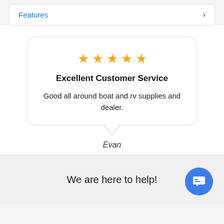Features
[Figure (infographic): Five-star rating display with gold stars]
Excellent Customer Service
Good all around boat and rv supplies and dealer.
Evan
We are here to help!